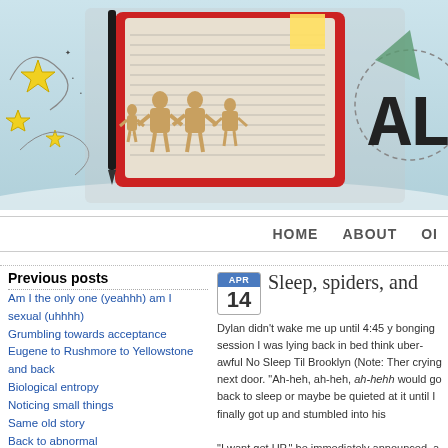[Figure (photo): Blog header banner with teal/blue background showing a journal/binder with handwritten pages, paper doll cutouts, decorative stars and swirls on the left, and a hand-drawn 'AL' logo on the right]
HOME   ABOUT   OI
Previous posts
Am I the only one (yeahhh) am I sexual (uhhhh)
Grumbling towards acceptance
Eugene to Rushmore to Yellowstone and back
Biological entropy
Noticing small things
Same old story
Back to abnormal
Tears in rain, weeping trees
48
Dear Diary
Mahalo
Pandemic perimenopause: BUMMER TURDUCKEN
That time we all got COVID
Sleep, spiders, and
Dylan didn't wake me up until 4:45 y bonging session I was lying back in bed think uber-awful No Sleep Til Brooklyn (Note: Ther crying next door. "Ah-heh, ah-heh, ah-hehh would go back to sleep or maybe be quieted at it until I finally got up and stumbled into his "I want get UP," he immediately announced, a subject of staying in bed and why we don't ex CHRIST), eventually trumping me completely. So we got up, my pajama-clad boy and I, at t where I fed him a waffle and sat slumped at t TIRED? Mommy makea COFFEE? Daddy in